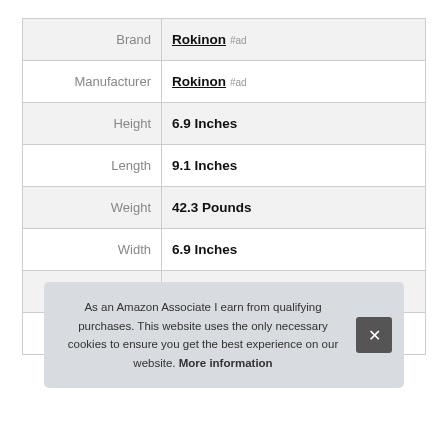|  |  |
| --- | --- |
| Brand | Rokinon #ad |
| Manufacturer | Rokinon #ad |
| Height | 6.9 Inches |
| Length | 9.1 Inches |
| Weight | 42.3 Pounds |
| Width | 6.9 Inches |
| Part Number | XN16-C 24 35 50 85 1 |
| Model | Xeen 6 Set Bundle |
As an Amazon Associate I earn from qualifying purchases. This website uses the only necessary cookies to ensure you get the best experience on our website. More information